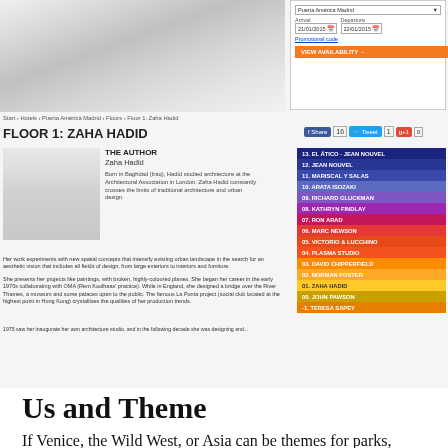[Figure (screenshot): Screenshot of a hotel website showing Floor 1: Zaha Hadid page for Puerta América Madrid, with hotel room image, booking widget, author bio, floor navigation sidebar, and body text.]
Us and Theme
If Venice, the Wild West, or Asia can be themes for parks, casinos, or hotels, then why not contemporary architecture?
More